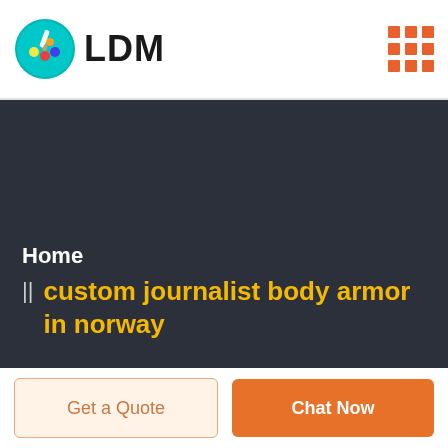[Figure (logo): LDM brand logo with colorful palette circle icon and bold LDM text]
[Figure (other): 3x3 grid of orange square dots used as hamburger/menu icon]
Home
custom journalist body armor in norway
Get a Quote
Chat Now